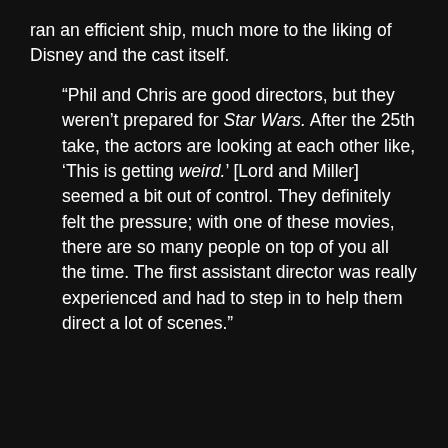ran an efficient ship, much more to the liking of Disney and the cast itself.
“Phil and Chris are good directors, but they weren’t prepared for Star Wars. After the 25th take, the actors are looking at each other like, ‘This is getting weird.’ [Lord and Miller] seemed a bit out of control. They definitely felt the pressure; with one of these movies, there are so many people on top of you all the time. The first assistant director was really experienced and had to step in to help them direct a lot of scenes.”